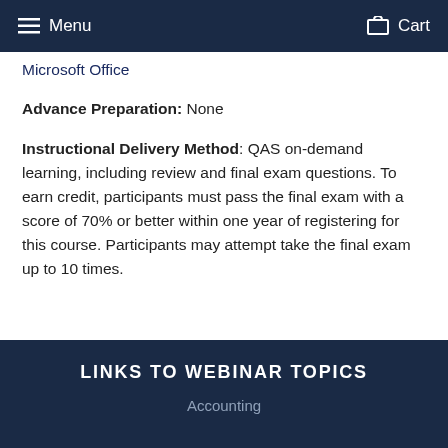Menu   Cart
Microsoft Office
Advance Preparation: None
Instructional Delivery Method: QAS on-demand learning, including review and final exam questions. To earn credit, participants must pass the final exam with a score of 70% or better within one year of registering for this course. Participants may attempt take the final exam up to 10 times.
LINKS TO WEBINAR TOPICS
Accounting